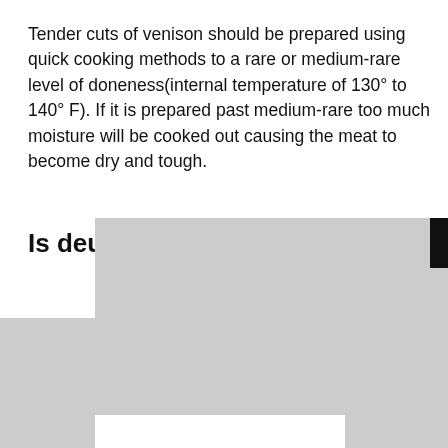Tender cuts of venison should be prepared using quick cooking methods to a rare or medium-rare level of doneness(internal temperature of 130° to 140° F). If it is prepared past medium-rare too much moisture will be cooked out causing the meat to become dry and tough.
Is de...u?
[Figure (screenshot): A gray modal overlay box partially covering content, with a black X close button in the upper right corner of the overlay.]